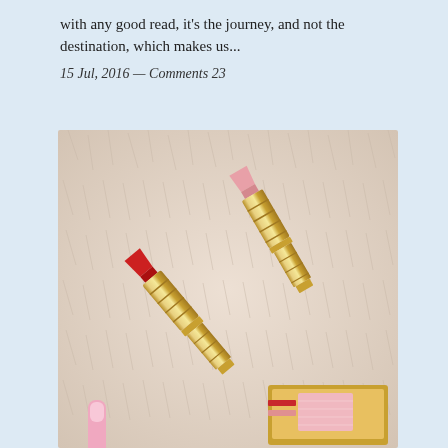with any good read, it's the journey, and not the destination, which makes us...
15 Jul, 2016 — Comments 23
[Figure (photo): Two gold-cased lipsticks (one red, one pink) lying open on a fluffy white/beige fur surface, with a pink blush compact and pink lip gloss tube partially visible in the lower corners.]